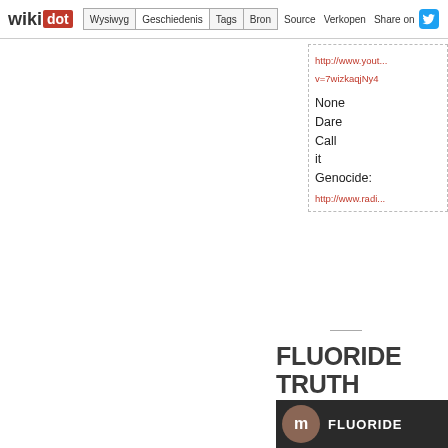wikidot | Wysiwyg | Geschiedenis | Tags | Bron | Source | Verkopen | Share on
http://www.yout... v=7wizkaqjNy4
None Dare Call it Genocide:
http://www.radi...
FLUORIDE TRUTH hits the TV in AUSTRALIA
[Figure (screenshot): Video thumbnail showing a dark scene with a large letter m in a brownish circle and the text FLUORIDE in white]